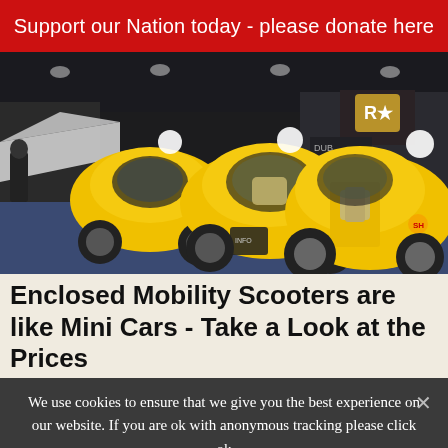Support our Nation today - please donate here
[Figure (photo): Three yellow enclosed mobility scooters/mini cars displayed at an indoor auto show on a blue carpet, with exhibition booths and signage visible in the background.]
Enclosed Mobility Scooters are like Mini Cars - Take a Look at the Prices
We use cookies to ensure that we give you the best experience on our website. If you are ok with anonymous tracking please click ok
Ok   Privacy policy